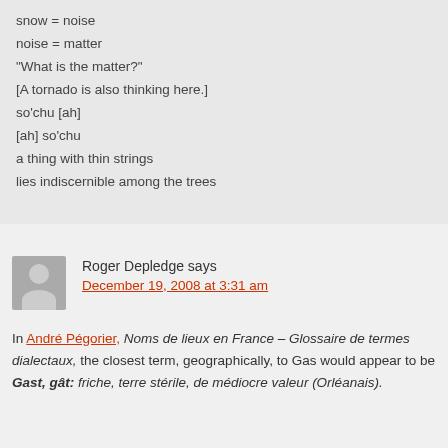snow = noise
noise = matter
"What is the matter?"
[A tornado is also thinking here.]
so'chu [ah]
[ah] so'chu
a thing with thin strings
lies indiscernible among the trees
Roger Depledge says
December 19, 2008 at 3:31 am
In André Pégorier, Noms de lieux en France – Glossaire de termes dialectaux, the closest term, geographically, to Gas would appear to be Gast, gât: friche, terre stérile, de médiocre valeur (Orléanais).